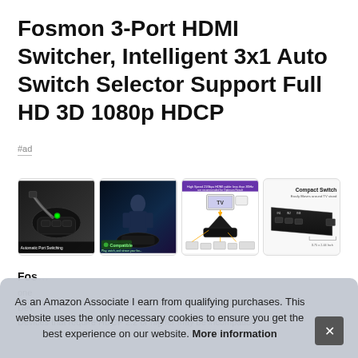Fosmon 3-Port HDMI Switcher, Intelligent 3x1 Auto Switch Selector Support Full HD 3D 1080p HDCP
#ad
[Figure (photo): Four product images of the Fosmon 3-Port HDMI Switcher showing: (1) switcher with HDMI cable and green LED, labeled 'Automatic Port Switching'; (2) gaming scene with armored character, labeled 'Compatible'; (3) diagram showing switcher connecting TV and devices, with purple header; (4) compact switch side view labeled 'Compact Switch, Easily Moves around TV stand']
Fosmon
one
Dev
Devices that require HDCP 2.2 or higher may be incompatible.
As an Amazon Associate I earn from qualifying purchases. This website uses the only necessary cookies to ensure you get the best experience on our website. More information